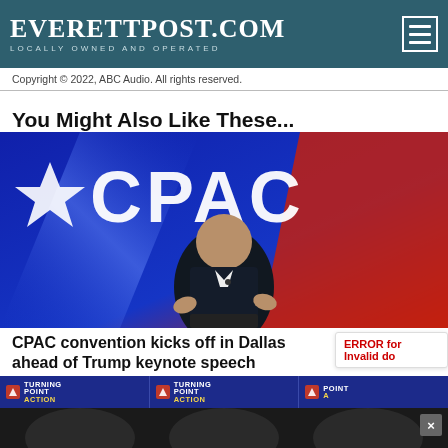EverettPost.com — Locally Owned and Operated
Copyright © 2022, ABC Audio. All rights reserved.
You Might Also Like These...
[Figure (photo): Man speaking at CPAC convention podium with large CPAC logo and star backdrop in blue and red]
CPAC convention kicks off in Dallas ahead of Trump keynote speech Saturday night
ERROR for site owner: Invalid domain
[Figure (photo): Bottom strip showing Turning Point Action logos and partial image]